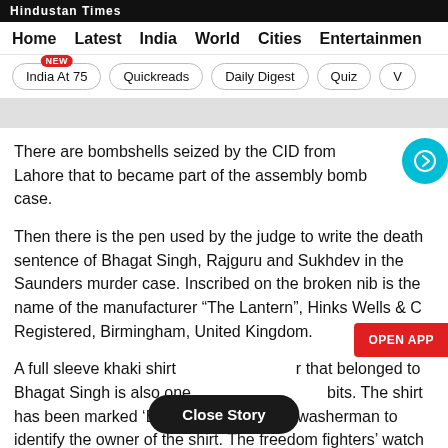Hindustan Times
Home | Latest | India | World | Cities | Entertainment
India At 75 NEW | Quickreads | Daily Digest | Quiz | V
There are bombshells seized by the CID from Lahore that to became part of the assembly bomb case.
Then there is the pen used by the judge to write the death sentence of Bhagat Singh, Rajguru and Sukhdev in the Saunders murder case. Inscribed on the broken nib is the name of the manufacturer “The Lantern”, Hinks Wells & C Registered, Birmingham, United Kingdom.
A full sleeve khaki shirt r that belonged to Bhagat Singh is also one bits. The shirt has been marked ‘Bhagat Singh’ by the washerman to identify the owner of the shirt. The freedom fighters’ watch and a pair of shoes that he gave to his friend Jaidev Kapoor is also there.